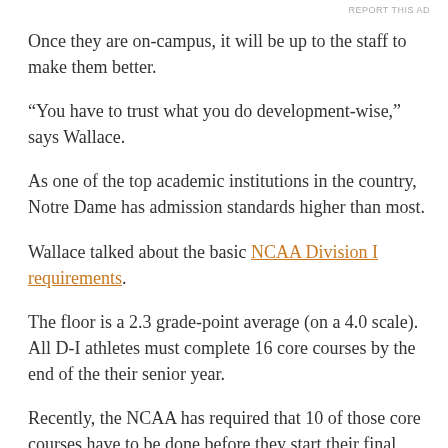REPORT THIS AD
Once they are on-campus, it will be up to the staff to make them better.
“You have to trust what you do development-wise,” says Wallace.
As one of the top academic institutions in the country, Notre Dame has admission standards higher than most.
Wallace talked about the basic NCAA Division I requirements.
The floor is a 2.3 grade-point average (on a 4.0 scale). All D-I athletes must complete 16 core courses by the end of the their senior year.
Recently, the NCAA has required that 10 of those core courses have to be done before they start their final prep year.